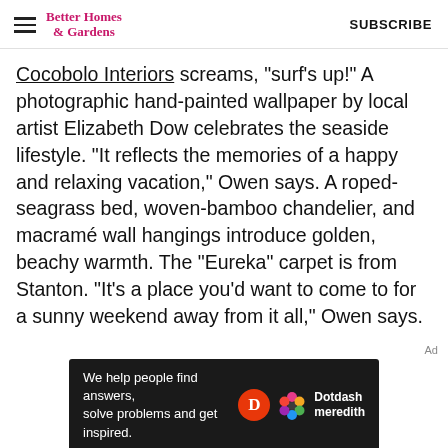Better Homes & Gardens | SUBSCRIBE
Cocobolo Interiors screams, "surf's up!" A photographic hand-painted wallpaper by local artist Elizabeth Dow celebrates the seaside lifestyle. "It reflects the memories of a happy and relaxing vacation," Owen says. A roped-seagrass bed, woven-bamboo chandelier, and macramé wall hangings introduce golden, beachy warmth. The "Eureka" carpet is from Stanton. "It's a place you'd want to come to for a sunny weekend away from it all," Owen says.
[Figure (other): Dotdash Meredith advertisement banner with text: We help people find answers, solve problems and get inspired.]